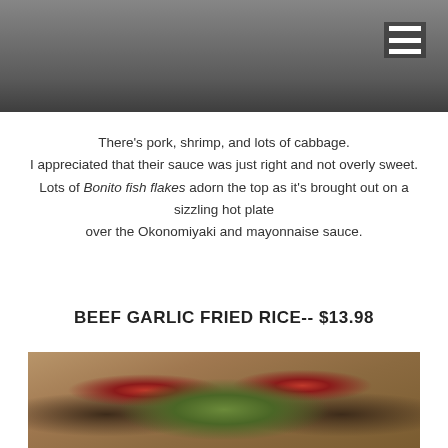[Figure (photo): Top portion of a food photo, partially visible, showing a dish on a dark background with a hamburger menu icon in the top right corner]
There's pork, shrimp, and lots of cabbage.
I appreciated that their sauce was just right and not overly sweet.
Lots of Bonito fish flakes adorn the top as it's brought out on a sizzling hot plate
over the Okonomiyaki and mayonnaise sauce.
BEEF GARLIC FRIED RICE-- $13.98
[Figure (photo): Photo of Beef Garlic Fried Rice dish showing fried rice with red peppers, dark beef pieces, garlic, and green herb garnish on top, served on a white plate]